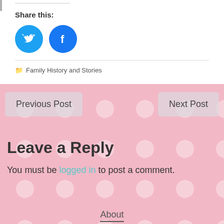Share this:
[Figure (illustration): Twitter bird icon (blue circle with white Twitter bird) and Facebook icon (blue circle with white Facebook f logo) side by side]
Family History and Stories
Previous Post
Next Post
Leave a Reply
You must be logged in to post a comment.
About